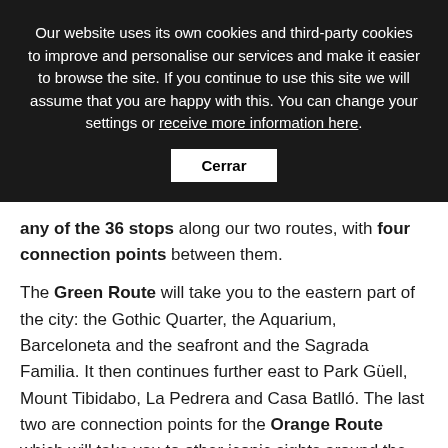Our website uses its own cookies and third-party cookies to improve and personalise our services and make it easier to browse the site. If you continue to use this site we will assume that you are happy with this. You can change your settings or receive more information here.
Cerrar
any of the 36 stops along our two routes, with four connection points between them.
The Green Route will take you to the eastern part of the city: the Gothic Quarter, the Aquarium, Barceloneta and the seafront and the Sagrada Familia. It then continues further east to Park Güell, Mount Tibidabo, La Pedrera and Casa Batlló. The last two are connection points for the Orange Route which will take you to other iconic sights around the city, such as La Rambla, the Columbus Monument, the Barcelona cruise terminal, the Olympic Hill of Montjuïc, Plaça Espanya and Camp Nou, and many more interesting landmarks.